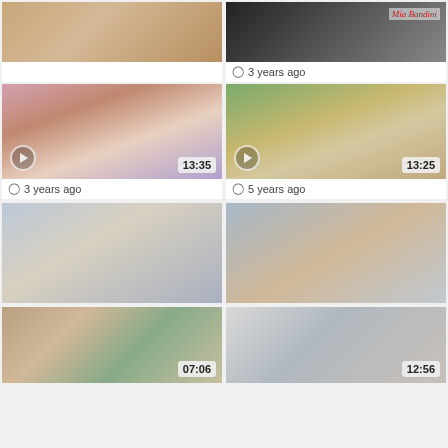[Figure (screenshot): Video thumbnail grid showing 8 video thumbnails arranged in 2 columns. Top-left partial: skin-toned close-up. Top-right partial with '3 years ago' label and watermark 'Mia Bandini'. Row 2 left: duration 13:35, '3 years ago'. Row 2 right: duration 13:25, '5 years ago'. Row 3 left: 3D animated figure. Row 3 right: close-up person. Row 4 left: duration 07:06, party scene. Row 4 right: duration 12:56, person lying down.]